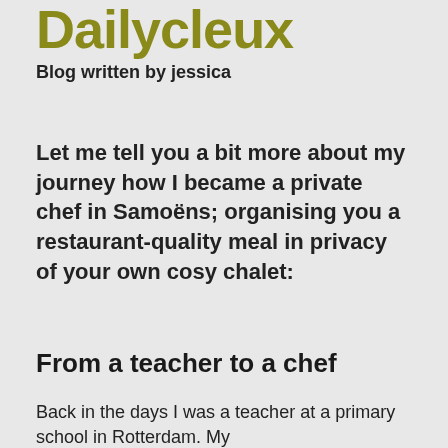Dailycleux
Blog written by jessica
Let me tell you a bit more about my journey how I became a private chef in Samoëns; organising you a restaurant-quality meal in privacy of your own cosy chalet:
From a teacher to a chef
Back in the days I was a teacher at a primary school in Rotterdam. My